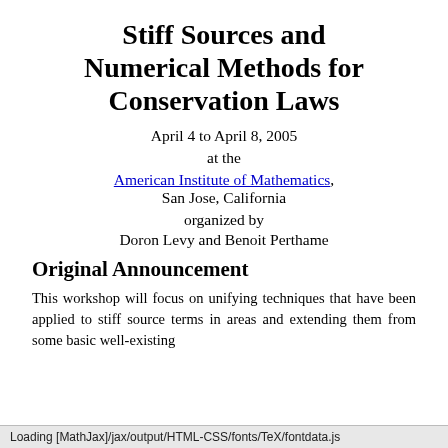Stiff Sources and Numerical Methods for Conservation Laws
April 4 to April 8, 2005
at the
American Institute of Mathematics, San Jose, California
organized by
Doron Levy and Benoit Perthame
Original Announcement
This workshop will focus on unifying techniques that have been applied to stiff source terms in areas and extending them from some basic well-existing
Loading [MathJax]/jax/output/HTML-CSS/fonts/TeX/fontdata.js